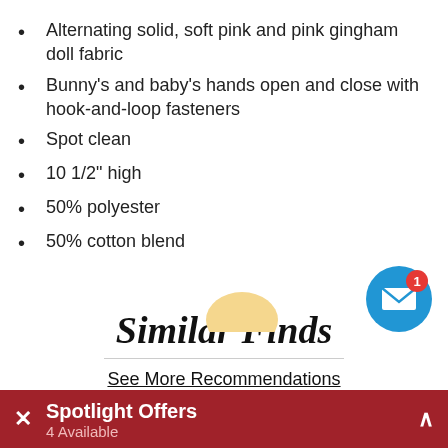Alternating solid, soft pink and pink gingham doll fabric
Bunny's and baby's hands open and close with hook-and-loop fasteners
Spot clean
10 1/2" high
50% polyester
50% cotton blend
Similar Finds
See More Recommendations
[Figure (illustration): Notification icon: blue circle with white envelope and red badge showing number 1]
[Figure (photo): Partial view of a doll figure at bottom of page]
Spotlight Offers — 4 Available